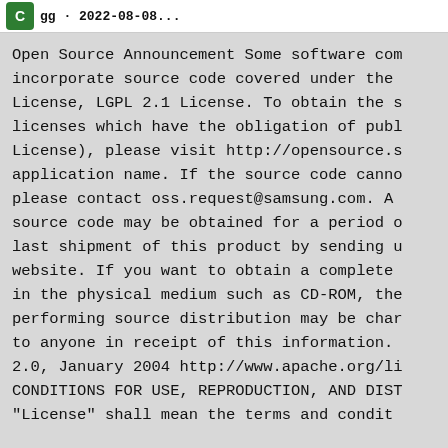gg · 2022-08-08...
Open Source Announcement Some software com incorporate source code covered under the License, LGPL 2.1 License. To obtain the s licenses which have the obligation of publ License), please visit http://opensource.s application name. If the source code canno please contact oss.request@samsung.com. A source code may be obtained for a period o last shipment of this product by sending u website. If you want to obtain a complete in the physical medium such as CD-ROM, the performing source distribution may be char to anyone in receipt of this information. 2.0, January 2004 http://www.apache.org/li CONDITIONS FOR USE, REPRODUCTION, AND DIST "License" shall mean the terms and condit